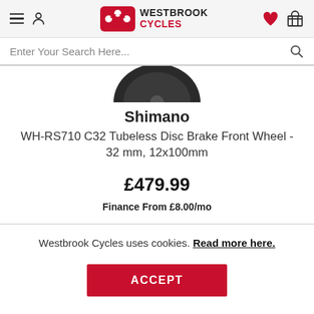Westbrook Cycles — navigation header with hamburger menu, user icon, logo, heart icon, basket icon
Enter Your Search Here...
[Figure (photo): Partial view of a black bicycle wheel (top portion visible)]
Shimano
WH-RS710 C32 Tubeless Disc Brake Front Wheel - 32 mm, 12x100mm
£479.99
Finance From £8.00/mo
Westbrook Cycles uses cookies. Read more here.
ACCEPT